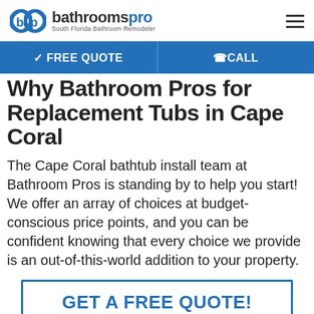bathroomspro — South Florida Bathroom Remodeler
✓ FREE QUOTE   @CALL
Why Bathroom Pros for Replacement Tubs in Cape Coral
The Cape Coral bathtub install team at Bathroom Pros is standing by to help you start! We offer an array of choices at budget-conscious price points, and you can be confident knowing that every choice we provide is an out-of-this-world addition to your property.
GET A FREE QUOTE!
Explore Bath Remodel Options